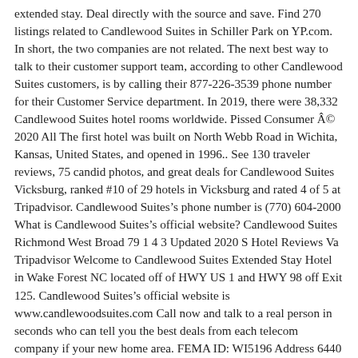extended stay. Deal directly with the source and save. Find 270 listings related to Candlewood Suites in Schiller Park on YP.com. In short, the two companies are not related. The next best way to talk to their customer support team, according to other Candlewood Suites customers, is by calling their 877-226-3539 phone number for their Customer Service department. In 2019, there were 38,332 Candlewood Suites hotel rooms worldwide. Pissed Consumer © 2020 All The first hotel was built on North Webb Road in Wichita, Kansas, United States, and opened in 1996.. See 130 traveler reviews, 75 candid photos, and great deals for Candlewood Suites Vicksburg, ranked #10 of 29 hotels in Vicksburg and rated 4 of 5 at Tripadvisor. Candlewood Suites's phone number is (770) 604-2000 What is Candlewood Suites's official website? Candlewood Suites Richmond West Broad 79 1 4 3 Updated 2020 S Hotel Reviews Va Tripadvisor Welcome to Candlewood Suites Extended Stay Hotel in Wake Forest NC located off of HWY US 1 and HWY 98 off Exit 125. Candlewood Suites's official website is www.candlewoodsuites.com Call now and talk to a real person in seconds who can tell you the best deals from each telecom company if your new home area. FEMA ID: WI5196 Address 6440 S 13th St Oak Creek WI 53154 Details 3 Floor(s) Phone number 414-570-9999 Fax number 414-570-9995 Email candlewood… Home. Follow IHG Rewards Club. A toll free phone number for Candlewood Suites Reservations is 855-632-0133. While 877-226-3539 is Candlewood Suites's best toll-free